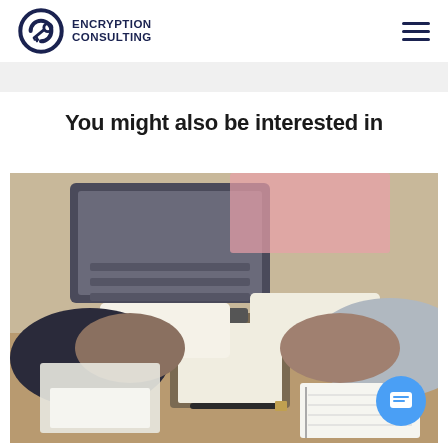Encryption Consulting
You might also be interested in
[Figure (photo): Two people exchanging a document or envelope over a desk with papers, a clipboard, and a laptop in the background. Business/contract signing context.]